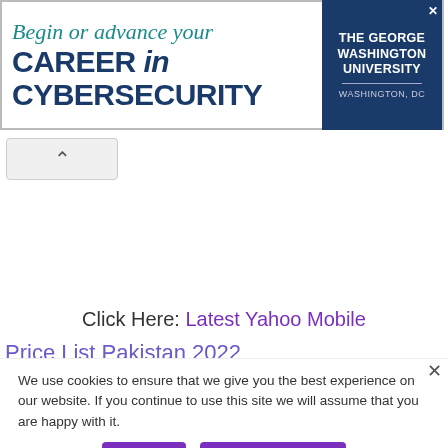[Figure (screenshot): Advertisement banner for The George Washington University: 'Begin or advance your CAREER in CYBERSECURITY' with university logo on dark blue background on the right]
[Figure (screenshot): Scroll-up chevron button below the ad banner]
Click Here: Latest Yahoo Mobile
Price List Pakistan 2022
We use cookies to ensure that we give you the best experience on our website. If you continue to use this site we will assume that you are happy with it.
[Figure (screenshot): Partially visible bottom advertisement for Skykit Digital Signage Network with 'Get Quote' button]
Ok
Privacy Policy